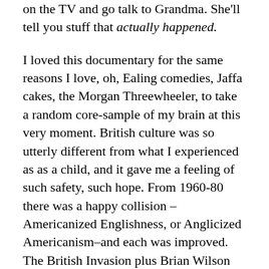on the TV and go talk to Grandma. She'll tell you stuff that actually happened.

I loved this documentary for the same reasons I love, oh, Ealing comedies, Jaffa cakes, the Morgan Threewheeler, to take a random core-sample of my brain at this very moment. British culture was so utterly different from what I experienced as as a child, and it gave me a feeling of such safety, such hope. From 1960-80 there was a happy collision –Americanized Englishness, or Anglicized Americanism–and each was improved. The British Invasion plus Brian Wilson equals Pet Sounds. Stanley Kubrick plus London equals... well, put it this way: Dr. Strangelove would've been very different if it had been filmed in Culver City. (If you've ever sat through The Loved One, you feel me.) That Mid-Atlantic stuff is still what gets me out of bed in the morning. It's what I'm